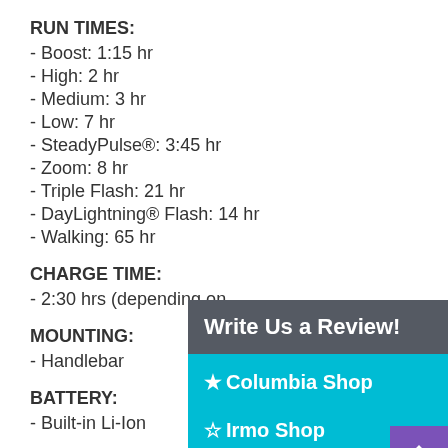RUN TIMES:
- Boost: 1:15 hr
- High: 2 hr
- Medium: 3 hr
- Low: 7 hr
- SteadyPulse®: 3:45 hr
- Zoom: 8 hr
- Triple Flash: 21 hr
- DayLightning® Flash: 14 hr
- Walking: 65 hr
CHARGE TIME:
- 2:30 hrs (depending on
MOUNTING:
- Handlebar
BATTERY:
- Built-in Li-Ion
[Figure (screenshot): Overlay panel with dark grey header 'Write Us a Review!', teal background with filled star 'Columbia Shop' and outline star 'Irmo Shop', and purple arrow-up button at bottom right.]